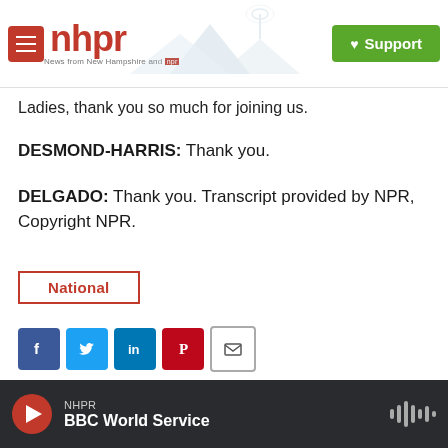nhpr — News from New Hampshire and NPR — Support
Ladies, thank you so much for joining us.
DESMOND-HARRIS: Thank you.
DELGADO: Thank you. Transcript provided by NPR, Copyright NPR.
National
[Figure (infographic): Social sharing buttons: Facebook, Twitter, LinkedIn, Pinterest, Email]
NHPR — BBC World Service (audio player)